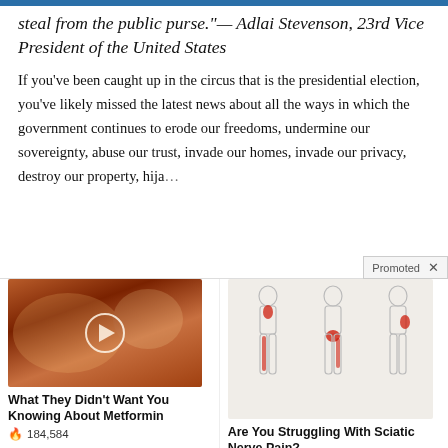steal from the public purse."— Adlai Stevenson, 23rd Vice President of the United States
If you've been caught up in the circus that is the presidential election, you've likely missed the latest news about all the ways in which the government continues to erode our freedoms, undermine our sovereignty, abuse our trust, invade our homes, invade our privacy, destroy our property, hija…
[Figure (photo): Advertisement image showing internal organ close-up with play button overlay]
What They Didn't Want You Knowing About Metformin
🔥 184,584
[Figure (illustration): Advertisement illustration showing human body outlines with red highlighted areas indicating sciatic nerve pain]
Are You Struggling With Sciatic Nerve Pain?
🔥 4,019